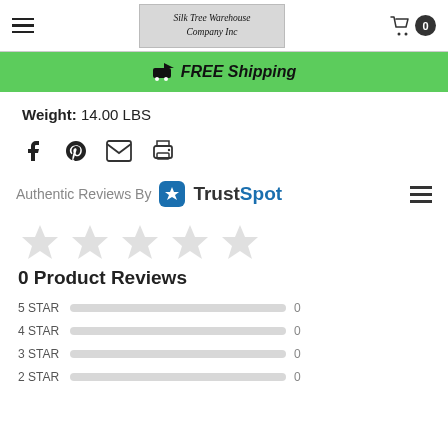Silk Tree Warehouse Company Inc — Header with cart
FREE Shipping
Weight: 14.00 LBS
[Figure (other): Social share icons: Facebook, Pinterest, Email, Print]
[Figure (logo): Authentic Reviews By TrustSpot logo with menu icon]
[Figure (other): Five empty/outline star rating icons]
0 Product Reviews
| Star Rating | Count |
| --- | --- |
| 5 STAR | 0 |
| 4 STAR | 0 |
| 3 STAR | 0 |
| 2 STAR | 0 |